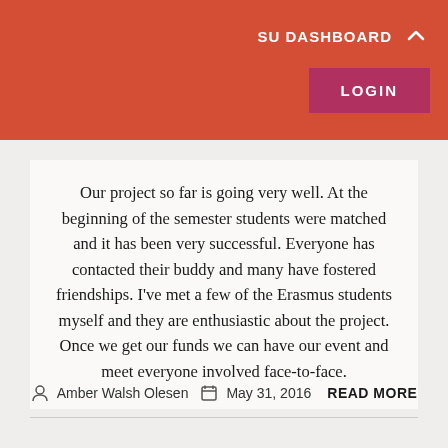SU DASHBOARD LOGIN
Our project so far is going very well. At the beginning of the semester students were matched and it has been very successful. Everyone has contacted their buddy and many have fostered friendships. I've met a few of the Erasmus students myself and they are enthusiastic about the project. Once we get our funds we can have our event and meet everyone involved face-to-face.
Amber Walsh Olesen   May 31, 2016   READ MORE